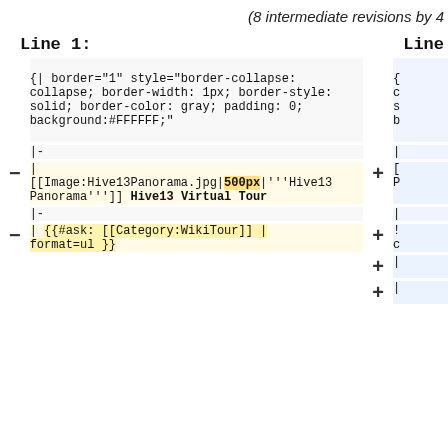(8 intermediate revisions by 4
Line 1:
Line
| {| border="1" style="border-collapse: collapse; border-width: 1px; border-style: solid; border-color: gray; padding: 0; background:#FFFFFF;" |  |
| |- |  |
| |
[[Image:Hive13Panorama.jpg|500px|'''Hive13 Panorama''']] Hive13 Virtual Tour |  |
| |- |  |
| | {{#ask: [[Category:WikiTour]] | format=ul }} |  |